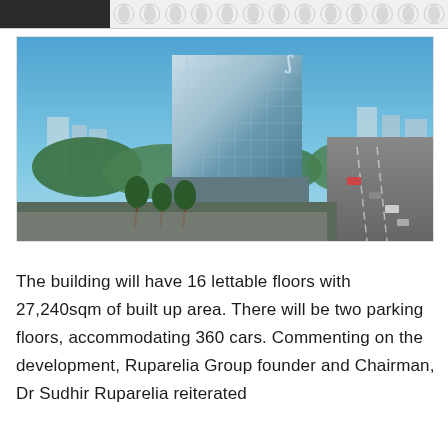[Figure (photo): Aerial rendering of a modern high-rise office building with glass facade, surrounded by green trees, with a highway visible on the right side and other buildings in the background under a blue sky.]
The building will have 16 lettable floors with 27,240sqm of built up area. There will be two parking floors, accommodating 360 cars. Commenting on the development, Ruparelia Group founder and Chairman, Dr Sudhir Ruparelia reiterated